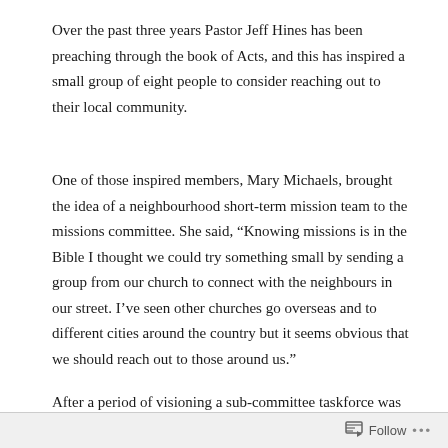Over the past three years Pastor Jeff Hines has been preaching through the book of Acts, and this has inspired a small group of eight people to consider reaching out to their local community.
One of those inspired members, Mary Michaels, brought the idea of a neighbourhood short-term mission team to the missions committee. She said, “Knowing missions is in the Bible I thought we could try something small by sending a group from our church to connect with the neighbours in our street. I’ve seen other churches go overseas and to different cities around the country but it seems obvious that we should reach out to those around us.”
After a period of visioning a sub-committee taskforce was
Follow